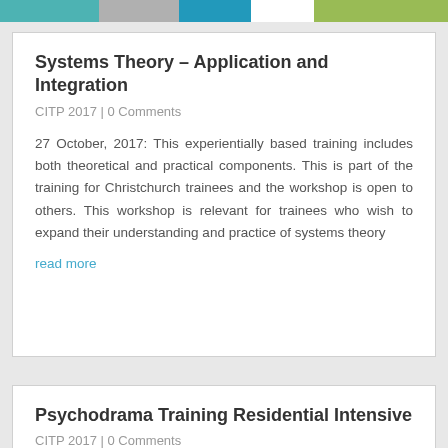Systems Theory – Application and Integration
CITP 2017 | 0 Comments
27 October, 2017: This experientially based training includes both theoretical and practical components. This is part of the training for Christchurch trainees and the workshop is open to others. This workshop is relevant for trainees who wish to expand their understanding and practice of systems theory
read more
Psychodrama Training Residential Intensive
CITP 2017 | 0 Comments